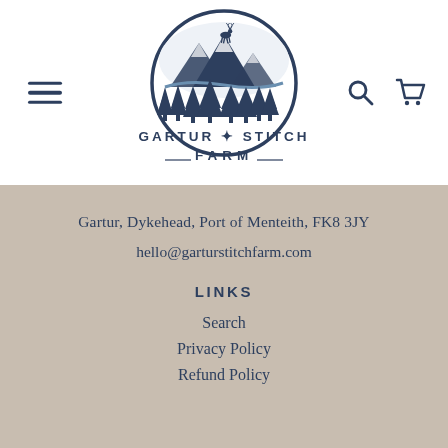[Figure (logo): Gartur Stitch Farm circular logo with mountain, deer, and pine tree illustration above the text GARTUR STITCH FARM]
Gartur, Dykehead, Port of Menteith, FK8 3JY
hello@garturstitchfarm.com
LINKS
Search
Privacy Policy
Refund Policy